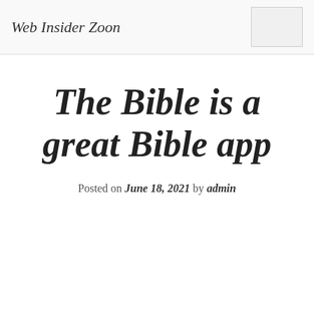Web Insider Zoon
The Bible is a great Bible app
Posted on June 18, 2021 by admin